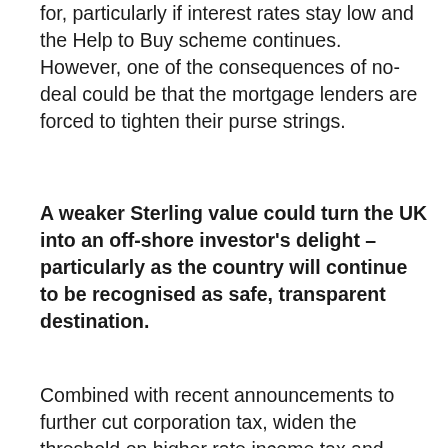for, particularly if interest rates stay low and the Help to Buy scheme continues. However, one of the consequences of no-deal could be that the mortgage lenders are forced to tighten their purse strings.
A weaker Sterling value could turn the UK into an off-shore investor's delight – particularly as the country will continue to be recognised as safe, transparent destination.
Combined with recent announcements to further cut corporation tax, widen the threshold on higher rate income tax and reform stamp duty policy to pre-2007 levels, investment activity in certain sectors may be